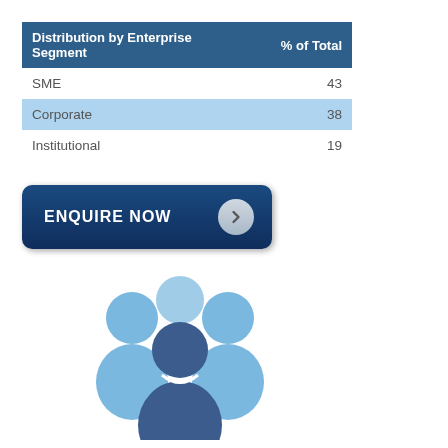| Distribution by Enterprise Segment | % of Total |
| --- | --- |
| SME | 43 |
| Corporate | 38 |
| Institutional | 19 |
[Figure (other): Dark blue rounded button with white bold text 'ENQUIRE NOW' and a grey circle arrow icon on the right]
[Figure (illustration): Blue people/group icon — three figures: two light blue on the sides and one dark blue in the center front, in a flat corporate icon style]